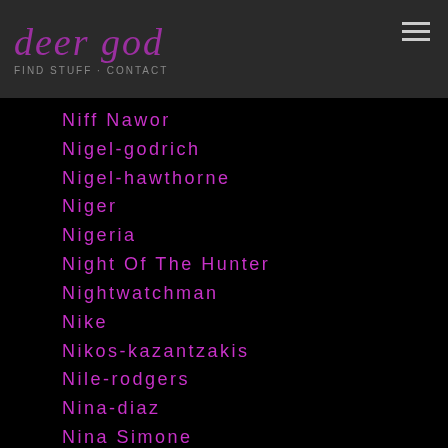deer god
Niff Nawor
Nigel-godrich
Nigel-hawthorne
Niger
Nigeria
Night Of The Hunter
Nightwatchman
Nike
Nikos-kazantzakis
Nile-rodgers
Nina-diaz
Nina Simone
Nine-club
Nineinchnails
Nine Inch Nails
Nino De Elche